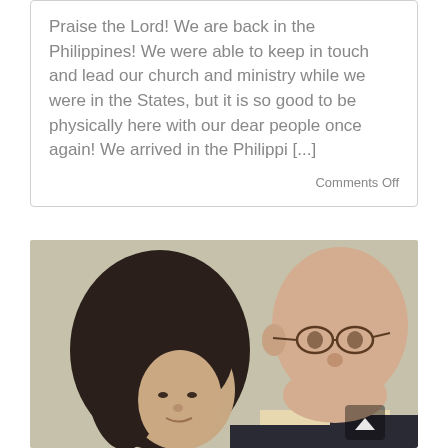Praise the Lord! We are back in the Philippines! We were able to keep in touch and lead our church and ministry while we were in the States, but it is so good to be physically here with our dear people once again! We arrived in the Philippi [...]
Comments Off
[Figure (photo): A smiling older bald man wearing glasses and a dark suit jacket with a light-colored shirt, photographed with a woman with dark hair, against a beige/grey background.]